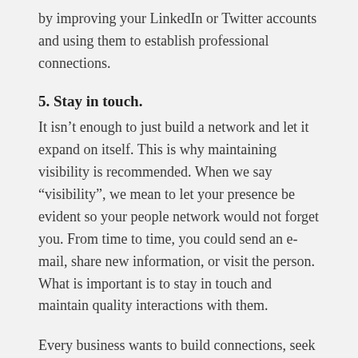by improving your LinkedIn or Twitter accounts and using them to establish professional connections.
5. Stay in touch.
It isn't enough to just build a network and let it expand on itself. This is why maintaining visibility is recommended. When we say “visibility”, we mean to let your presence be evident so your people network would not forget you. From time to time, you could send an e-mail, share new information, or visit the person. What is important is to stay in touch and maintain quality interactions with them.
Every business wants to build connections, seek referrals, and earn.